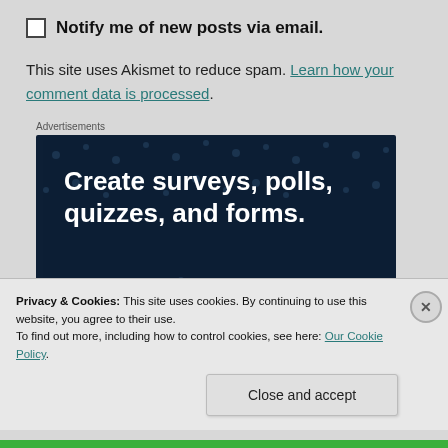Notify me of new posts via email.
This site uses Akismet to reduce spam. Learn how your comment data is processed.
Advertisements
[Figure (illustration): Dark navy advertisement banner reading 'Create surveys, polls, quizzes, and forms.' with decorative dot pattern and pink button at bottom]
Privacy & Cookies: This site uses cookies. By continuing to use this website, you agree to their use.
To find out more, including how to control cookies, see here: Our Cookie Policy
Close and accept